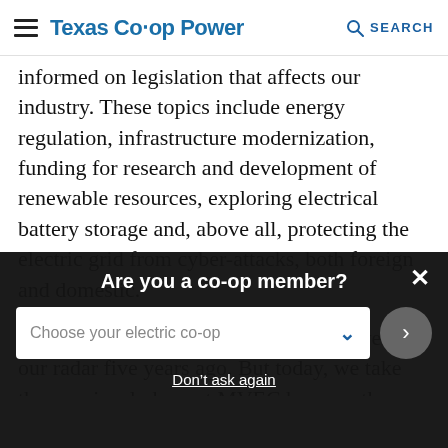Texas Co-op Power  SEARCH
informed on legislation that affects our industry. These topics include energy regulation, infrastructure modernization, funding for research and development of renewable resources, exploring electrical battery storage and, above all, protecting the electric grid from cyber-attacks, both foreign and domestic.
Cyber-attacks are a threat that wasn't even on our radar five years ago. But today, we take them seriously here at MVEC because they are a true threat. We have a dedicated team that monitors and protects our
Are you a co-op member?
Choose your electric co-op
Don't ask again